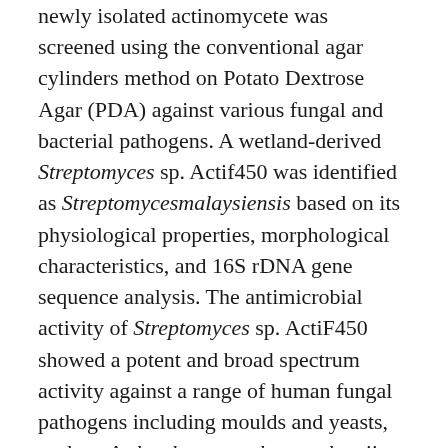newly isolated actinomycete was screened using the conventional agar cylinders method on Potato Dextrose Agar (PDA) against various fungal and bacterial pathogens. A wetland-derived Streptomyces sp. Actif450 was identified as Streptomycesmalaysiensis based on its physiological properties, morphological characteristics, and 16S rDNA gene sequence analysis. The antimicrobial activity of Streptomyces sp. ActiF450 showed a potent and broad spectrum activity against a range of human fungal pathogens including moulds and yeasts, such as Arthroderma vanbreuseghemii, Aspergillus fumigatus, A. niger, Candida albicans, C. glabarta, C. krusei, C. parapsilosis, Fusarium oxysporum, F. solani, Microsporum canis, Rhodotorula mucilaginous and